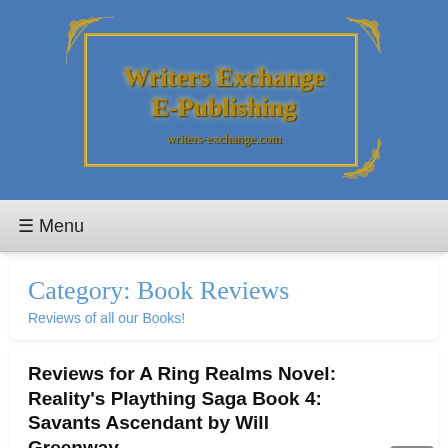[Figure (logo): Writers Exchange E-Publishing logo on blue background with gold decorative corner flourishes and gold border rectangle. Text reads 'Writers Exchange E-Publishing' and 'writers-exchange.com' in gold serif font.]
≡ Menu
Category: Book Reviews
Reviews of all our Books!
Reviews for A Ring Realms Novel: Reality's Plaything Saga Book 4: Savants Ascendant by Will Greenway
March 7, 2020   Leave a comment